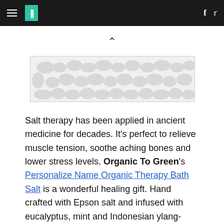HuffPost navigation with hamburger menu, logo, Facebook and Twitter icons
[Figure (other): Advertisement banner placeholder with light grey patterned background (blob/pill shapes)]
Salt therapy has been applied in ancient medicine for decades. It's perfect to relieve muscle tension, soothe aching bones and lower stress levels. Organic To Green's Personalize Name Organic Therapy Bath Salt is a wonderful healing gift. Hand crafted with Epson salt and infused with eucalyptus, mint and Indonesian ylang-ylang, this salt is wellness in a bottle.